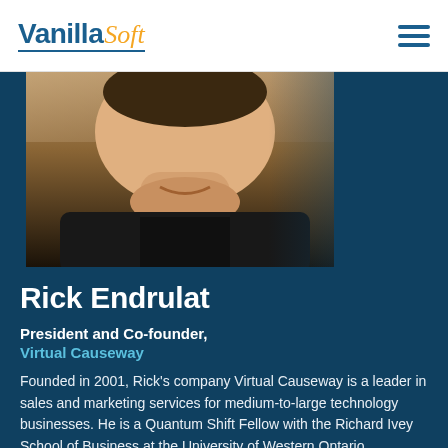VanillaSoft
[Figure (photo): Close-up portrait photo of Rick Endrulat, a man smiling, wearing a black shirt, with a brick wall background, cropped to show face and upper chest]
Rick Endrulat
President and Co-founder,
Virtual Causeway
Founded in 2001, Rick's company Virtual Causeway is a leader in sales and marketing services for medium-to-large technology businesses. He is a Quantum Shift Fellow with the Richard Ivey School of Business at the University of Western Ontario